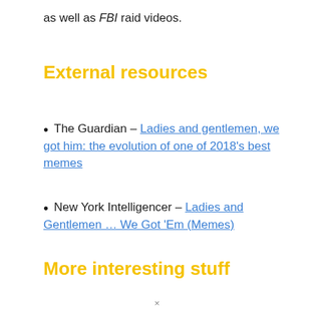as well as FBI raid videos.
External resources
The Guardian – Ladies and gentlemen, we got him: the evolution of one of 2018's best memes
New York Intelligencer – Ladies and Gentlemen … We Got 'Em (Memes)
More interesting stuff
×